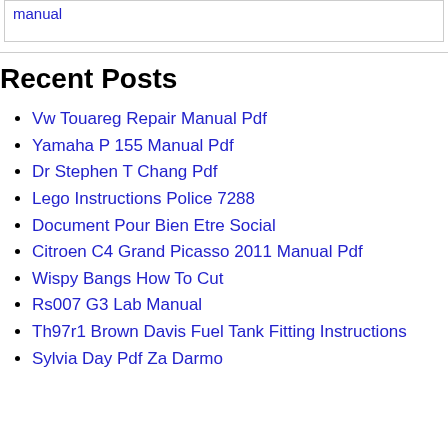manual
Recent Posts
Vw Touareg Repair Manual Pdf
Yamaha P 155 Manual Pdf
Dr Stephen T Chang Pdf
Lego Instructions Police 7288
Document Pour Bien Etre Social
Citroen C4 Grand Picasso 2011 Manual Pdf
Wispy Bangs How To Cut
Rs007 G3 Lab Manual
Th97r1 Brown Davis Fuel Tank Fitting Instructions
Sylvia Day Pdf Za Darmo